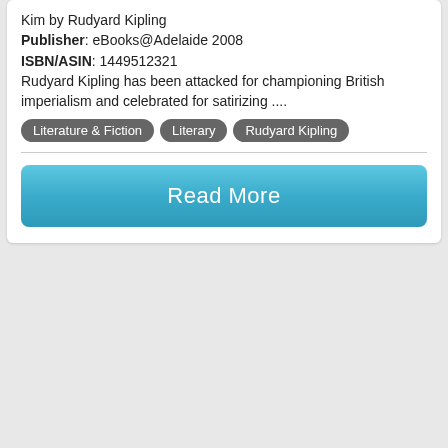Kim by Rudyard Kipling
Publisher: eBooks@Adelaide 2008
ISBN/ASIN: 1449512321
Rudyard Kipling has been attacked for championing British imperialism and celebrated for satirizing ....
Literature & Fiction
Literary
Rudyard Kipling
Read More